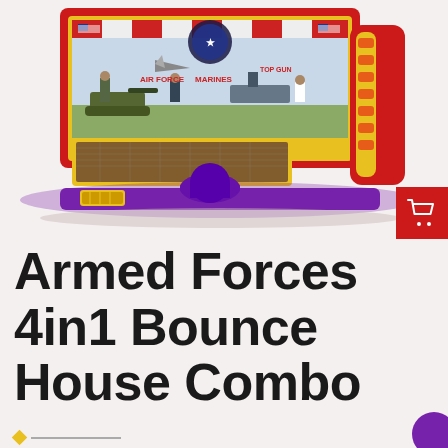[Figure (photo): Armed Forces 4in1 Bounce House Combo inflatable. A large inflatable bounce house with red, yellow, and purple colors. The front panel features military-themed graphics including American flags, eagles, military vehicles, jets, ships, and military personnel from all branches of the armed forces. The structure has a yellow-framed bounce area, a purple entrance arch/step, a yellow kickplate, and red/yellow inflated columns on the right side which is a slide section.]
Armed Forces 4in1 Bounce House Combo